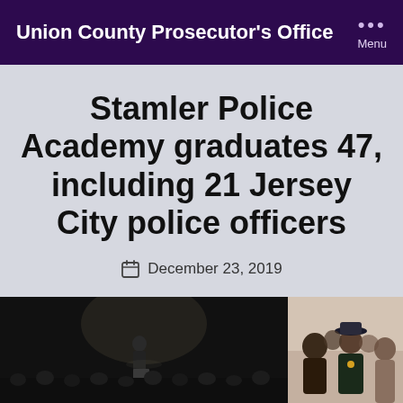Union County Prosecutor's Office
Stamler Police Academy graduates 47, including 21 Jersey City police officers
December 23, 2019
[Figure (photo): Left photo: A speaker at a podium on a darkened stage with an audience visible in silhouette. Right photo: A group of people in formal attire gathered together, one wearing a police uniform hat.]